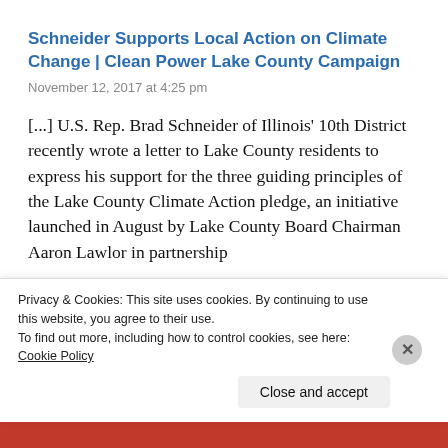Schneider Supports Local Action on Climate Change | Clean Power Lake County Campaign
November 12, 2017 at 4:25 pm
[...] U.S. Rep. Brad Schneider of Illinois’ 10th District recently wrote a letter to Lake County residents to express his support for the three guiding principles of the Lake County Climate Action pledge, an initiative launched in August by Lake County Board Chairman Aaron Lawlor in partnership
Privacy & Cookies: This site uses cookies. By continuing to use this website, you agree to their use.
To find out more, including how to control cookies, see here: Cookie Policy
Close and accept